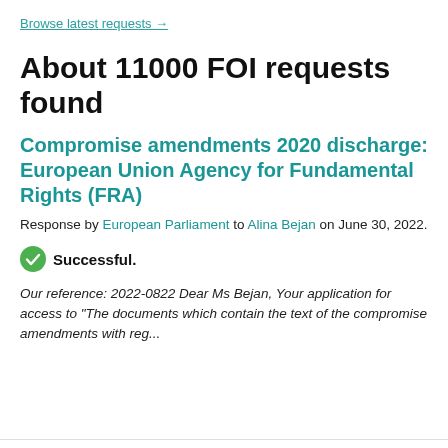Browse latest requests →
About 11000 FOI requests found
Compromise amendments 2020 discharge: European Union Agency for Fundamental Rights (FRA)
Response by European Parliament to Alina Bejan on June 30, 2022.
Successful.
Our reference: 2022-0822 Dear Ms Bejan, Your application for access to "The documents which contain the text of the compromise amendments with reg...